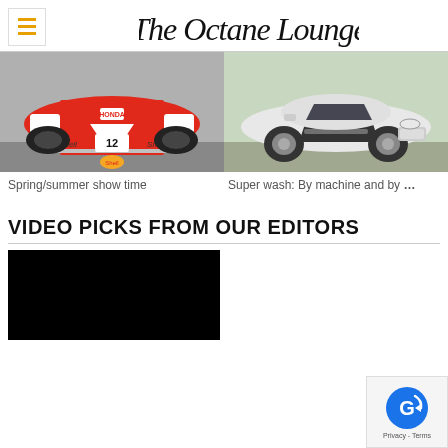The Octane Lounge
[Figure (photo): Front view of a McLaren Honda F1 car number 12 with Shell sponsorship, red and white livery]
Spring/summer show time
[Figure (photo): Side view of a white Audi R8 supercar parked outdoors]
Super wash: By machine and by ...
VIDEO PICKS FROM OUR EDITORS
[Figure (screenshot): Black video thumbnail placeholder]
[Figure (logo): Google privacy/reCAPTCHA badge with blue circular logo and Privacy Terms text]